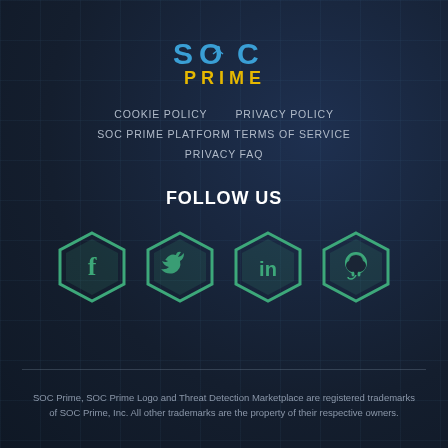[Figure (logo): SOC Prime logo with hexagon and antenna icon in blue/yellow]
COOKIE POLICY
PRIVACY POLICY
SOC PRIME PLATFORM TERMS OF SERVICE
PRIVACY FAQ
FOLLOW US
[Figure (illustration): Four hexagonal social media icons for Facebook, Twitter, LinkedIn, and GitHub in teal/green color]
SOC Prime, SOC Prime Logo and Threat Detection Marketplace are registered trademarks of SOC Prime, Inc. All other trademarks are the property of their respective owners.